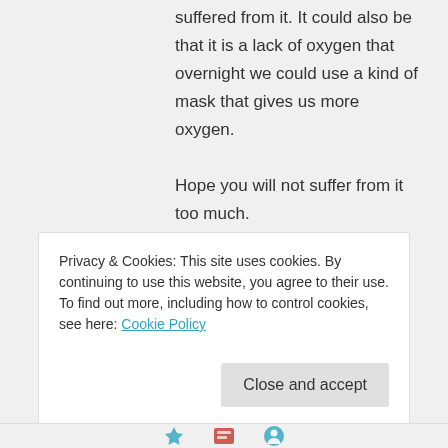suffered from it. It could also be that it is a lack of oxygen that overnight we could use a kind of mask that gives us more oxygen.
Hope you will not suffer from it too much.
All the best my friend
Didi
★ Liked by 1 person
Privacy & Cookies: This site uses cookies. By continuing to use this website, you agree to their use.
To find out more, including how to control cookies, see here: Cookie Policy
Close and accept